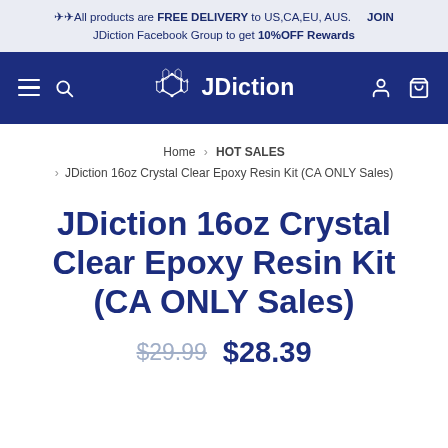✈✈All products are FREE DELIVERY to US,CA,EU, AUS.  JOIN JDiction Facebook Group to get 10%OFF Rewards
[Figure (logo): JDiction navigation bar with hamburger menu, search icon, JDiction molecule logo and brand name, user icon, and cart icon on dark blue background]
Home > HOT SALES > JDiction 16oz Crystal Clear Epoxy Resin Kit (CA ONLY Sales)
JDiction 16oz Crystal Clear Epoxy Resin Kit (CA ONLY Sales)
$29.99  $28.39